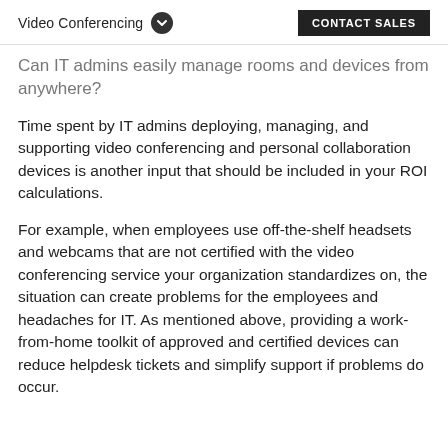Video Conferencing  CONTACT SALES
Can IT admins easily manage rooms and devices from anywhere?
Time spent by IT admins deploying, managing, and supporting video conferencing and personal collaboration devices is another input that should be included in your ROI calculations.
For example, when employees use off-the-shelf headsets and webcams that are not certified with the video conferencing service your organization standardizes on, the situation can create problems for the employees and headaches for IT. As mentioned above, providing a work-from-home toolkit of approved and certified devices can reduce helpdesk tickets and simplify support if problems do occur.